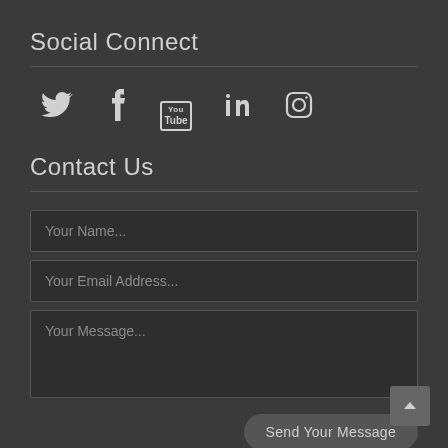Social Connect
[Figure (infographic): Row of 5 social media icons: Twitter bird, Facebook f, YouTube (You/Tube stacked in box), LinkedIn in, Instagram camera]
Contact Us
[Figure (screenshot): Contact form with three fields: 'Your Name...', 'Your Email Address...', 'Your Message...' and a 'Send Your Message' button. Dark theme UI.]